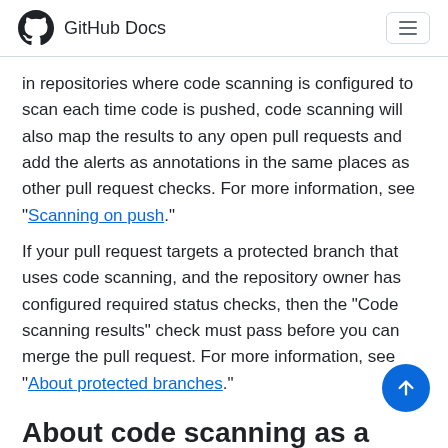GitHub Docs
in repositories where code scanning is configured to scan each time code is pushed, code scanning will also map the results to any open pull requests and add the alerts as annotations in the same places as other pull request checks. For more information, see "Scanning on push."
If your pull request targets a protected branch that uses code scanning, and the repository owner has configured required status checks, then the "Code scanning results" check must pass before you can merge the pull request. For more information, see "About protected branches."
About code scanning as a pull request check
There are many options for configuring code scanning as